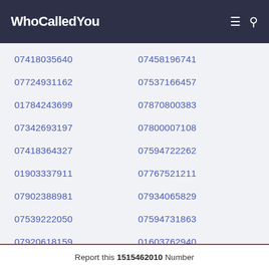WhoCalledYou
07418035640
07458196741
07724931162
07537166457
01784243699
07870800383
07342693197
07800007108
07418364327
07594722262
01903337911
07767521211
07902388981
07934065829
07539222050
07594731863
07920618159
01603762940
Report this 1515462010 Number